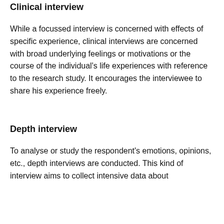Clinical interview
While a focussed interview is concerned with effects of specific experience, clinical interviews are concerned with broad underlying feelings or motivations or the course of the individual's life experiences with reference to the research study. It encourages the interviewee to share his experience freely.
Depth interview
To analyse or study the respondent's emotions, opinions, etc., depth interviews are conducted. This kind of interview aims to collect intensive data about